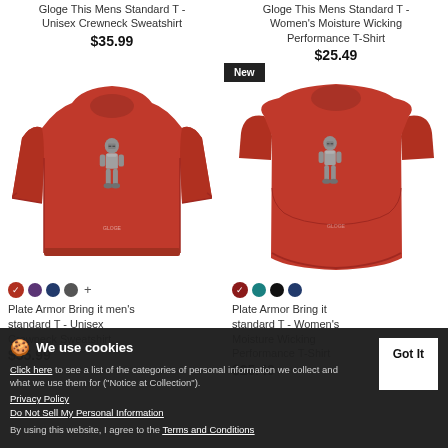Gloge This Mens Standard T - Unisex Crewneck Sweatshirt
$35.99
Gloge This Mens Standard T - Women's Moisture Wicking Performance T-Shirt
$25.49
[Figure (photo): Red unisex crewneck sweatshirt with a knight in plate armor graphic on front]
[Figure (photo): Red women's fitted short-sleeve t-shirt with a knight in plate armor graphic on front, with a 'New' badge]
Plate Armor Bring it men's standard T - Unisex Crewneck Sweatshirt $35.99
Plate Armor Bring it standard T - Women's Moisture Wicking Performance T-Shirt $25.49
We use cookies
Click here to see a list of the categories of personal information we collect and what we use them for ("Notice at Collection").
Privacy Policy
Do Not Sell My Personal Information
By using this website, I agree to the Terms and Conditions
Got It